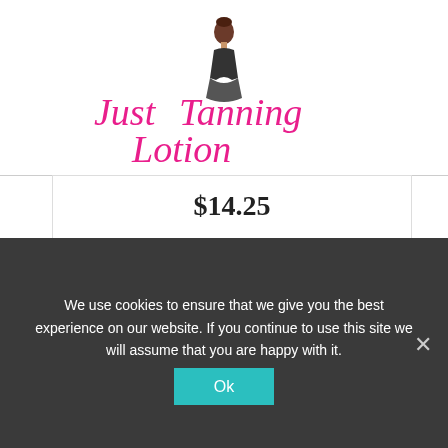[Figure (logo): Just Tanning Lotion script logo with illustrated woman figure, pink script text]
$14.25
Buy on Amazon
BESTSELLER NO. 4
SALE
[Figure (photo): A brown tanning mitt/glove product photo on white background]
We use cookies to ensure that we give you the best experience on our website. If you continue to use this site we will assume that you are happy with it.
Ok